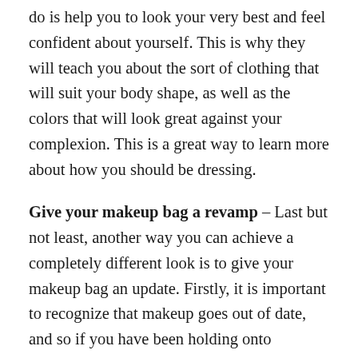do is help you to look your very best and feel confident about yourself. This is why they will teach you about the sort of clothing that will suit your body shape, as well as the colors that will look great against your complexion. This is a great way to learn more about how you should be dressing.
Give your makeup bag a revamp – Last but not least, another way you can achieve a completely different look is to give your makeup bag an update. Firstly, it is important to recognize that makeup goes out of date, and so if you have been holding onto products for years and years,